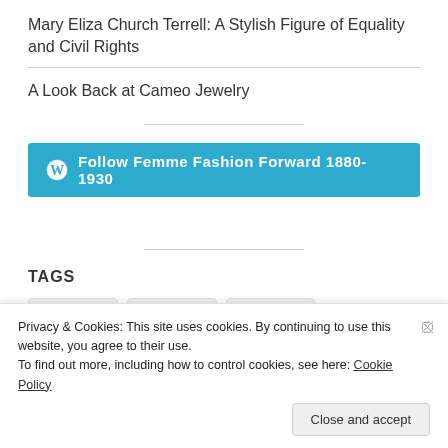Mary Eliza Church Terrell: A Stylish Figure of Equality and Civil Rights
A Look Back at Cameo Jewelry
[Figure (other): Follow Femme Fashion Forward 1880-1930 button with WordPress icon]
TAGS
1900s
1910s
1920s
Privacy & Cookies: This site uses cookies. By continuing to use this website, you agree to their use.
To find out more, including how to control cookies, see here: Cookie Policy
Close and accept